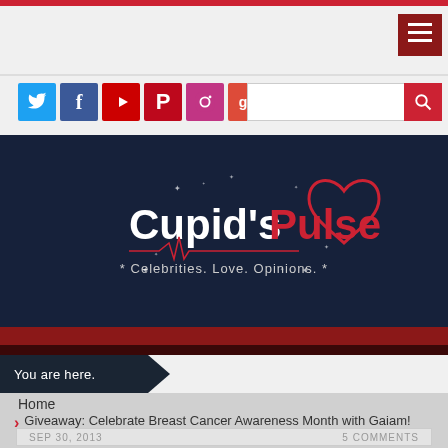[Figure (screenshot): Website header with red top bar and hamburger menu button on right]
[Figure (logo): Social media icons: Twitter (blue), Facebook (blue), YouTube (red), Pinterest (red), Instagram (multi), Google+ (red), LinkedIn (blue)]
[Figure (screenshot): Search bar with red search button on right]
[Figure (logo): Cupid's Pulse logo on dark navy background - white text 'Cupid's' and red text 'Pulse' with heart icon and tagline 'Celebrities. Love. Opinions.']
You are here.
Home
Giveaway: Celebrate Breast Cancer Awareness Month with Gaiam!
SEP 30, 2013
5 COMMENTS